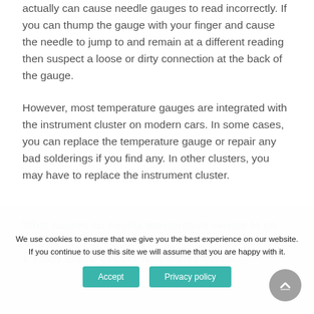actually can cause needle gauges to read incorrectly. If you can thump the gauge with your finger and cause the needle to jump to and remain at a different reading then suspect a loose or dirty connection at the back of the gauge.
However, most temperature gauges are integrated with the instrument cluster on modern cars. In some cases, you can replace the temperature gauge or repair any bad solderings if you find any. In other clusters, you may have to replace the instrument cluster.
We use cookies to ensure that we give you the best experience on our website. If you continue to use this site we will assume that you are happy with it.
What causes an engine temperature sensor to go off?
1. Faulty Engine Coolant Temperature Sensor.